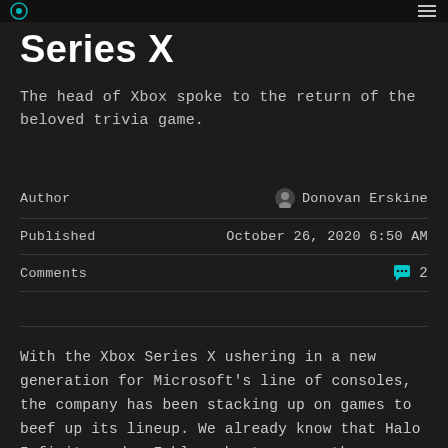Series X
The head of Xbox spoke to the return of the beloved trivia game.
Author
Donovan Erskine
Published
October 26, 2020 6:50 AM
Comments
2
With the Xbox Series X ushering in a new generation for Microsoft's line of consoles, the company has been stacking up on games to beef up its lineup. We already know that Halo Infinite and a Fable reboot are on the way, but there's another title from Microsoft's catalogue that fans have been clamoring for over the last several